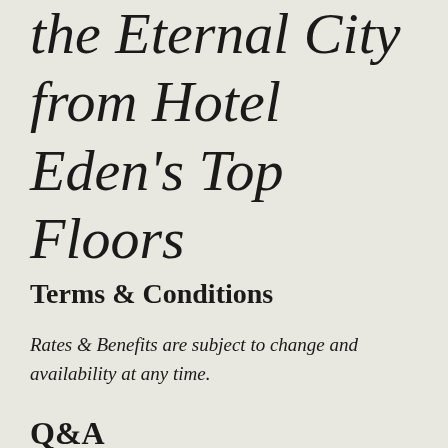the Eternal City from Hotel Eden's Top Floors
Terms & Conditions
Rates & Benefits are subject to change and availability at any time.
Q&A